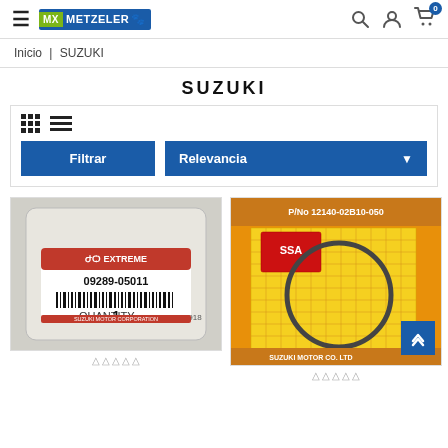MX METZELER — navigation header with search, user, and cart icons
Inicio | SUZUKI
SUZUKI
Filtrar | Relevancia — grid/list view toggles and filter controls
[Figure (photo): Suzuki OEM part in plastic bag, part number 09289-05011, barcode, quantity 1, dated 20030918, Suzuki Motor Corporation label]
[Figure (photo): Suzuki OEM piston ring on yellow grid card, P/No 12140-02B10-050, SSA logo, Suzuki Motor Co. Ltd label]